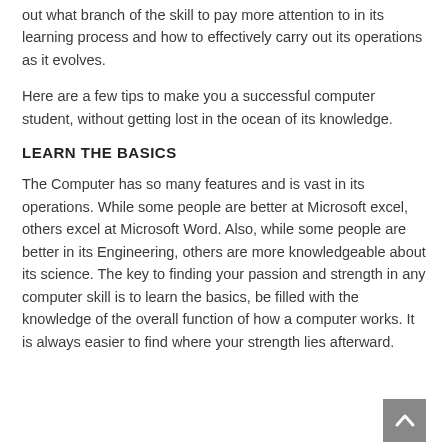out what branch of the skill to pay more attention to in its learning process and how to effectively carry out its operations as it evolves.
Here are a few tips to make you a successful computer student, without getting lost in the ocean of its knowledge.
LEARN THE BASICS
The Computer has so many features and is vast in its operations. While some people are better at Microsoft excel, others excel at Microsoft Word. Also, while some people are better in its Engineering, others are more knowledgeable about its science. The key to finding your passion and strength in any computer skill is to learn the basics, be filled with the knowledge of the overall function of how a computer works. It is always easier to find where your strength lies afterward.